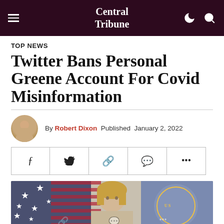Central Tribune
TOP NEWS
Twitter Bans Personal Greene Account For Covid Misinformation
By Robert Dixon  Published  January 2, 2022
[Figure (photo): Photo of a woman with blonde hair in front of an American flag and a seal/emblem background]